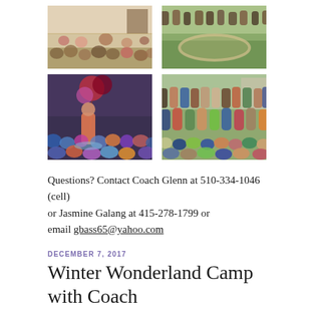[Figure (photo): Group of children sitting on a floor indoors, likely a school or gym setting]
[Figure (photo): Group of children outdoors on grass with a circular path or area visible]
[Figure (photo): Children and adults at what appears to be an outdoor event or performance, with colorful decorations]
[Figure (photo): Large group of children and adults posing outdoors for a group photo]
Questions? Contact Coach Glenn at 510-334-1046 (cell) or Jasmine Galang at 415-278-1799 or email gbass65@yahoo.com
DECEMBER 7, 2017
Winter Wonderland Camp with Coach